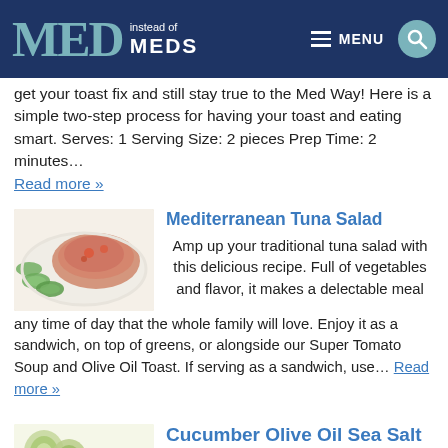MED instead of MEDS
get your toast fix and still stay true to the Med Way! Here is a simple two-step process for having your toast and eating smart. Serves: 1 Serving Size: 2 pieces Prep Time: 2 minutes…
Read more »
Mediterranean Tuna Salad
Amp up your traditional tuna salad with this delicious recipe. Full of vegetables and flavor, it makes a delectable meal any time of day that the whole family will love. Enjoy it as a sandwich, on top of greens, or alongside our Super Tomato Soup and Olive Oil Toast. If serving as a sandwich, use… Read more »
Cucumber Olive Oil Sea Salt Yogurt
[Figure (photo): Tuna salad with cucumber slices on a white plate]
[Figure (photo): Sliced cucumber with yogurt dish]